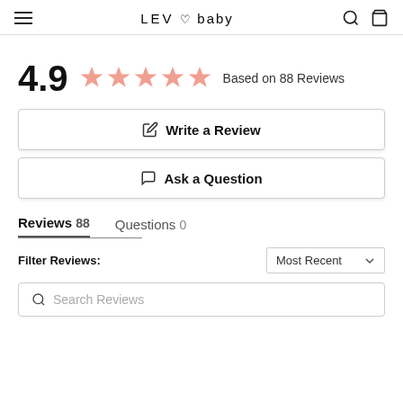LEV ♡ baby
4.9  ★★★★★  Based on 88 Reviews
✎ Write a Review
💬 Ask a Question
Reviews 88   Questions 0
Filter Reviews:   Most Recent ∨
🔍 Search Reviews